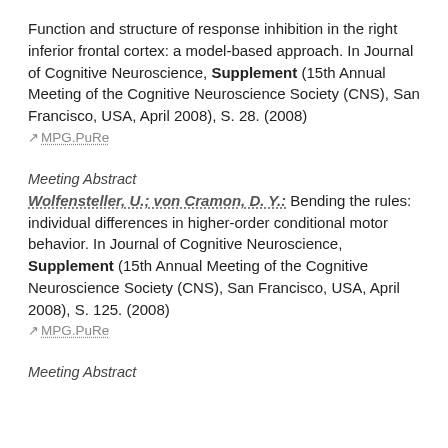Function and structure of response inhibition in the right inferior frontal cortex: a model-based approach. In Journal of Cognitive Neuroscience, Supplement (15th Annual Meeting of the Cognitive Neuroscience Society (CNS), San Francisco, USA, April 2008), S. 28. (2008)
MPG.PuRe
Meeting Abstract
Wolfensteller, U.; von Cramon, D. Y.: Bending the rules: individual differences in higher-order conditional motor behavior. In Journal of Cognitive Neuroscience, Supplement (15th Annual Meeting of the Cognitive Neuroscience Society (CNS), San Francisco, USA, April 2008), S. 125. (2008)
MPG.PuRe
Meeting Abstract